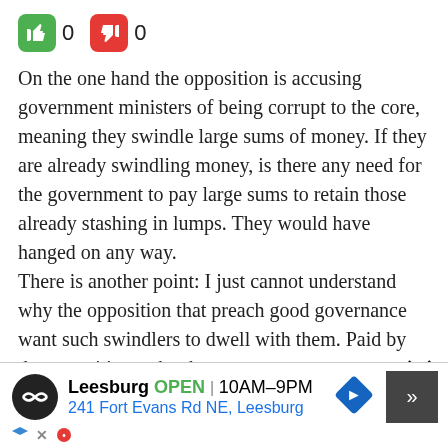[Figure (other): Thumbs up icon (green rounded square) with count 0, thumbs down icon (red rounded square) with count 0]
On the one hand the opposition is accusing government ministers of being corrupt to the core, meaning they swindle large sums of money. If they are already swindling money, is there any need for the government to pay large sums to retain those already stashing in lumps. They would have hanged on any way. There is another point: I just cannot understand why the opposition that preach good governance want such swindlers to dwell with them. Paid by the opposition or by the
[Figure (other): Advertisement banner for Leesburg store showing OPEN 10AM-9PM at 241 Fort Evans Rd NE, Leesburg with navigation icon and scroll button]